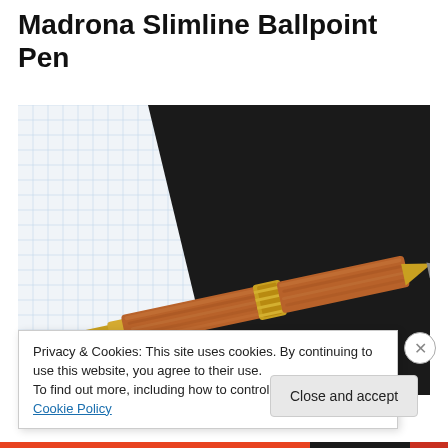Madrona Slimline Ballpoint Pen
[Figure (photo): A wooden ballpoint pen with gold trim resting on a black notebook, against a grid-paper background. The pen barrel is reddish-brown wood with a decorative gold center band.]
Privacy & Cookies: This site uses cookies. By continuing to use this website, you agree to their use.
To find out more, including how to control cookies, see here: Cookie Policy